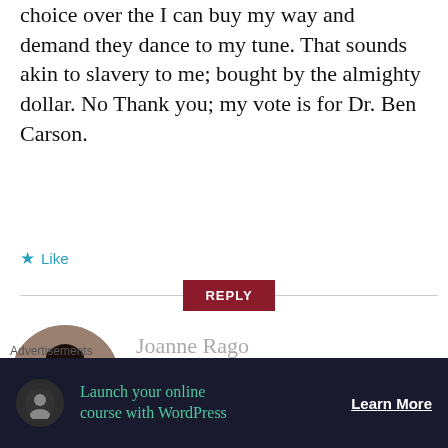choice over the I can buy my way and demand they dance to my tune. That sounds akin to slavery to me; bought by the almighty dollar. No Thank you; my vote is for Dr. Ben Carson.
★ Like
REPLY
[Figure (photo): Circular avatar photo of Joanne Rago, a woman with dark hair]
Joanne Rago
AUGUST 12, 2015 AT 2:02 PM
The things you are looking for
are available in Ben Carson who says the
Advertisements
Launch your online course with WordPress
Learn More